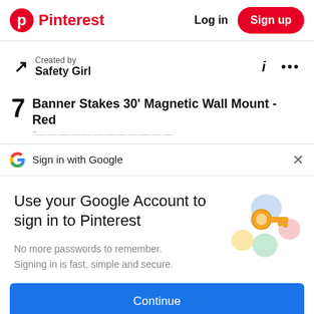Pinterest  Log in  Sign up
Created by
Safety Girl
Banner Stakes 30' Magnetic Wall Mount - Red
Sign in with Google
Use your Google Account to sign in to Pinterest
No more passwords to remember.
Signing in is fast, simple and secure.
Continue